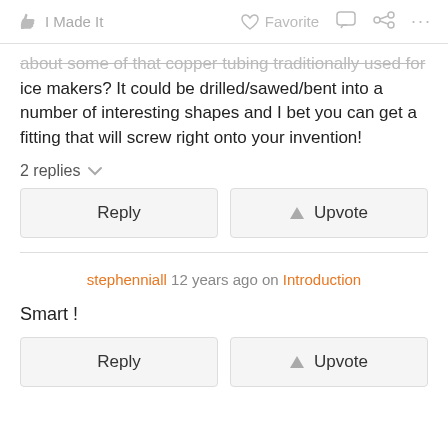I Made It   Favorite   ... (share, comment, more)
about some of that copper tubing traditionally used for ice makers? It could be drilled/sawed/bent into a number of interesting shapes and I bet you can get a fitting that will screw right onto your invention!
2 replies
Reply   Upvote
stephenniall 12 years ago on Introduction
Smart !
Reply   Upvote